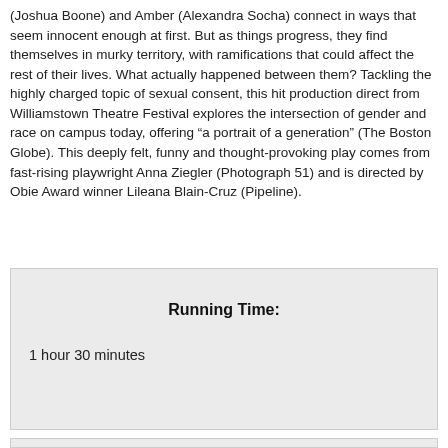(Joshua Boone) and Amber (Alexandra Socha) connect in ways that seem innocent enough at first. But as things progress, they find themselves in murky territory, with ramifications that could affect the rest of their lives. What actually happened between them? Tackling the highly charged topic of sexual consent, this hit production direct from Williamstown Theatre Festival explores the intersection of gender and race on campus today, offering “a portrait of a generation” (The Boston Globe). This deeply felt, funny and thought-provoking play comes from fast-rising playwright Anna Ziegler (Photograph 51) and is directed by Obie Award winner Lileana Blain-Cruz (Pipeline).
Running Time:
1 hour 30 minutes